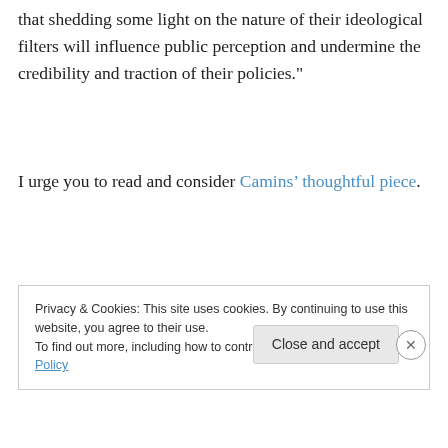that shedding some light on the nature of their ideological filters will influence public perception and undermine the credibility and traction of their policies."
I urge you to read and consider Camins' thoughtful piece.
Privacy & Cookies: This site uses cookies. By continuing to use this website, you agree to their use.
To find out more, including how to control cookies, see here: Cookie Policy
Close and accept